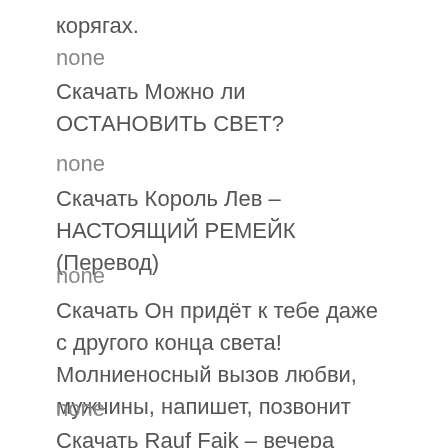корягах.
none
Скачать Можно ли ОСТАНОВИТЬ СВЕТ?
none
Скачать Король Лев – НАСТОЯЩИЙ РЕМЕЙК (Перевод)
none
Скачать Он придёт к тебе даже с другого конца света! Молниеносный вызов любви, мужчины, напишет, позвонит
none
Скачать Rauf Faik – вечера (Official audio)